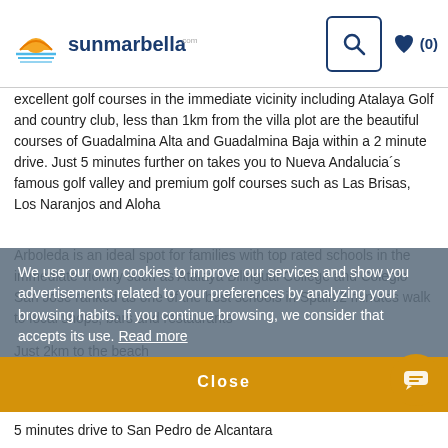sunmarbella
excellent golf courses in the immediate vicinity including Atalaya Golf and country club, less than 1km from the villa plot are the beautiful courses of Guadalmina Alta and Guadalmina Baja within a 2 minute drive. Just 5 minutes further on takes you to Nueva Andalucia´s famous golf valley and premium golf courses such as Las Brisas, Los Naranjos and Aloha
Arboleda is an ideal spot for families with top rated schools in the immediate vicinity such as Atalaya Bilingual College and Colegio San Jose ranked as one of the best schools in Spain.2 minutes walk to local shops, bars and restaurants
Just 2km to the beach
1-2km to the premium golf courses Atalaya and Guadalmina
We use our own cookies to improve our services and show you advertisements related to your preferences by analyzing your browsing habits. If you continue browsing, we consider that accepts its use. Read more
Close
BOOK NOW
5 minutes drive to San Pedro de Alcantara